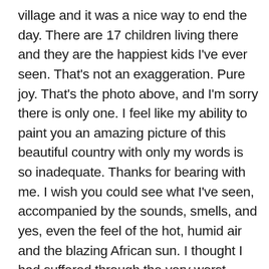village and it was a nice way to end the day. There are 17 children living there and they are the happiest kids I've ever seen. That's not an exaggeration. Pure joy. That's the photo above, and I'm sorry there is only one. I feel like my ability to paint you an amazing picture of this beautiful country with only my words is so inadequate. Thanks for bearing with me. I wish you could see what I've seen, accompanied by the sounds, smells, and yes, even the feel of the hot, humid air and the blazing African sun. I thought I had suffered through the very worst summer weather last year in China. Not so. But I'm not complaining. Promise.